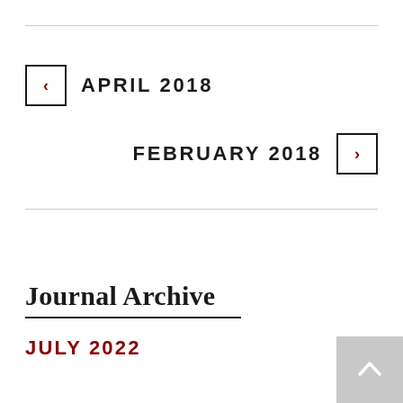APRIL 2018
FEBRUARY 2018
Journal Archive
JULY 2022